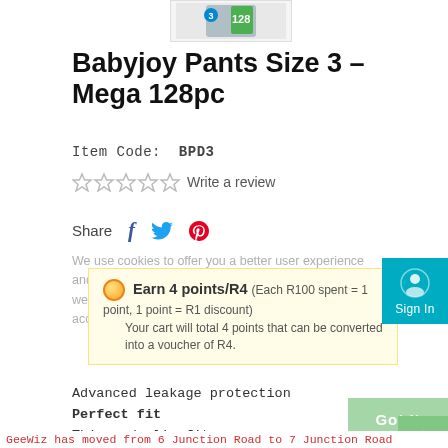[Figure (photo): Product image of Babyjoy Pants diaper package, size 3, 128pc]
Babyjoy Pants Size 3 – Mega 128pc
Item Code: BPD3
★★★★★ Write a review
Share
We use cookies to offer you a better user experience and analyse site traffic. By continuing to use this website, you consent to the use of cookies in accordance with our Privacy Policy. Learn More
Earn 4 points/R4 (Each R100 spent = 1 point, 1 point = R1 discount)
Your cart will total 4 points that can be converted into a voucher of R4.
Advanced leakage protection
Perfect fit
Thin and slim fit
GeeWiz has moved from 6 Junction Road to 7 Junction Road